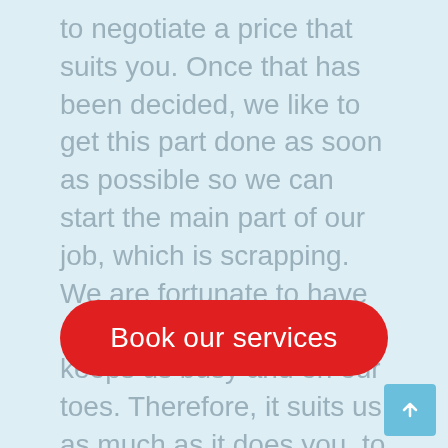to negotiate a price that suits you. Once that has been decided, we like to get this part done as soon as possible so we can start the main part of our job, which is scrapping. We are fortunate to have a good clientele that keeps us busy and on our toes. Therefore, it suits us as much as it does you, to get the payments out of the way as soon as possible.
[Figure (other): Red rounded-rectangle button with white text 'Book our services']
[Figure (other): Light blue square button with white upward arrow (scroll-to-top button)]